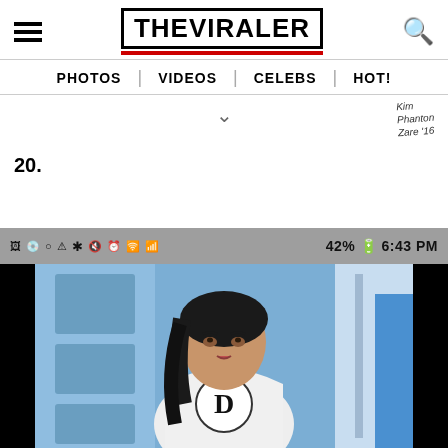THE VIRALER — navigation: PHOTOS | VIDEOS | CELEBS | HOT!
20.
[Figure (screenshot): Screenshot of a mobile phone showing a comic book panel with a female superhero character in a white costume with 'D' logo, dark hair, standing in a futuristic setting. Status bar shows 42% battery and 6:43 PM.]